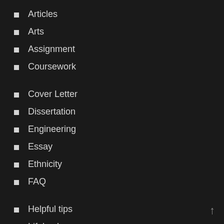Articles
Arts
Assignment
Coursework
Cover Letter
Dissertation
Engineering
Essay
Ethnicity
FAQ
Helpful tips
Lifehacks